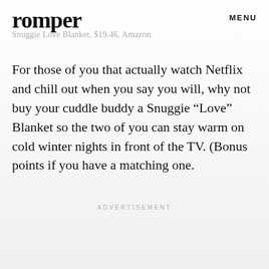romper
MENU
Snuggie Love Blanket, $19.46, Amazon
For those of you that actually watch Netflix and chill out when you say you will, why not buy your cuddle buddy a Snuggie “Love” Blanket so the two of you can stay warm on cold winter nights in front of the TV. (Bonus points if you have a matching one.
ADVERTISEMENT